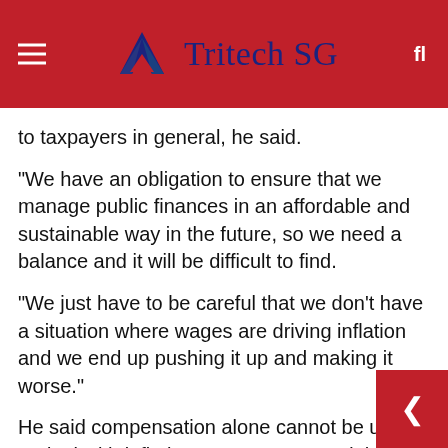Tritech SG
to taxpayers in general, he said.
“We have an obligation to ensure that we manage public finances in an affordable and sustainable way in the future, so we need a balance and it will be difficult to find.
“We just have to be careful that we don’t have a situation where wages are driving inflation and we end up pushing it up and making it worse.”
He said compensation alone cannot be used to deal with inflationary pressures and the government has other levers at its disposal.
“There will be a budget in October and we exp… further changes to our income tax code, social protection and other government initiatives to